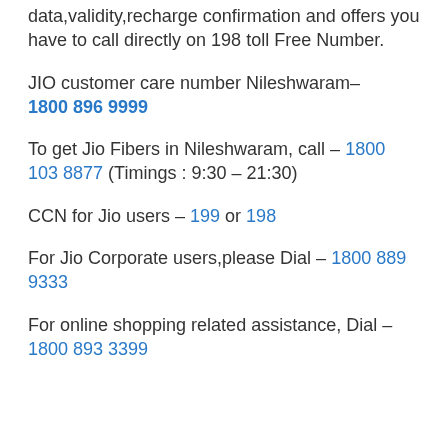data,validity,recharge confirmation and offers you have to call directly on 198 toll Free Number.
JIO customer care number Nileshwaram– 1800 896 9999
To get Jio Fibers in Nileshwaram, call – 1800 103 8877 (Timings : 9:30 – 21:30)
CCN for Jio users – 199 or 198
For Jio Corporate users,please Dial – 1800 889 9333
For online shopping related assistance, Dial – 1800 893 3399